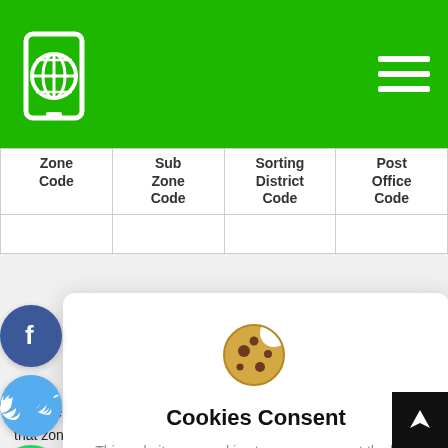Navigation header with globe/phone icon and hamburger menu
| Zone Code | Sub Zone Code | Sorting District Code | Post Office Code |
| --- | --- | --- | --- |
[Figure (infographic): Cookies Consent modal with cookie icon, text 'This website use cookies to ensure you get the best experience on our website.', 'I understand' button and 'Privacy Policy' link]
with the first two digits, indicates the sorting district within that zone.